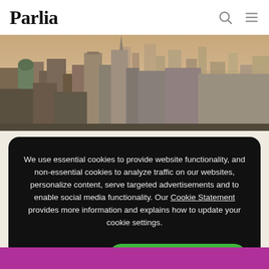Parlia
[Figure (photo): Aerial cityscape photo showing dense urban skyline with skyscrapers, warm golden light, New York City style]
We use essential cookies to provide website functionality, and non-essential cookies to analyze traffic on our websites, personalize content, serve targeted advertisements and to enable social media functionality. Our Cookie Statement provides more information and explains how to update your cookie settings.
COOKIE SETTINGS
ACCEPT COOKIES